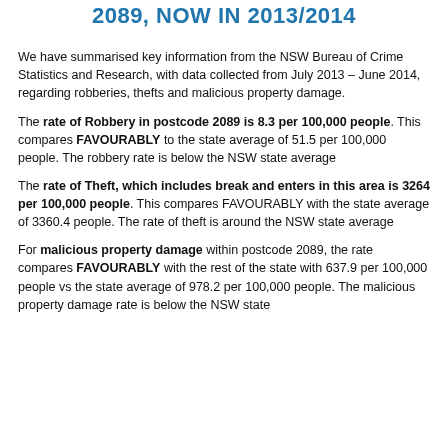2089, NOW IN 2013/2014
We have summarised key information from the NSW Bureau of Crime Statistics and Research, with data collected from July 2013 – June 2014, regarding robberies, thefts and malicious property damage.
The rate of Robbery in postcode 2089 is 8.3 per 100,000 people. This compares FAVOURABLY to the state average of 51.5 per 100,000 people. The robbery rate is below the NSW state average
The rate of Theft, which includes break and enters in this area is 3264 per 100,000 people. This compares FAVOURABLY with the state average of 3360.4 people. The rate of theft is around the NSW state average
For malicious property damage within postcode 2089, the rate compares FAVOURABLY with the rest of the state with 637.9 per 100,000 people vs the state average of 978.2 per 100,000 people. The malicious property damage rate is below the NSW state